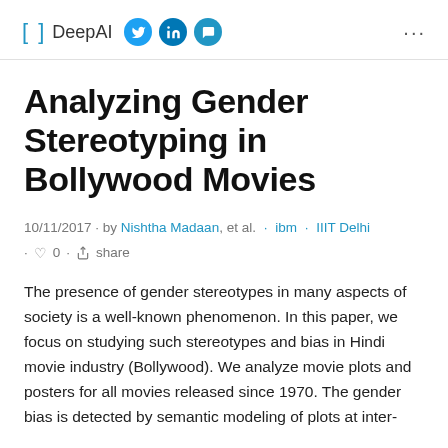[ ] DeepAI
Analyzing Gender Stereotyping in Bollywood Movies
10/11/2017 · by Nishtha Madaan, et al. · ibm · IIIT Delhi · 0 · share
The presence of gender stereotypes in many aspects of society is a well-known phenomenon. In this paper, we focus on studying such stereotypes and bias in Hindi movie industry (Bollywood). We analyze movie plots and posters for all movies released since 1970. The gender bias is detected by semantic modeling of plots at inter-